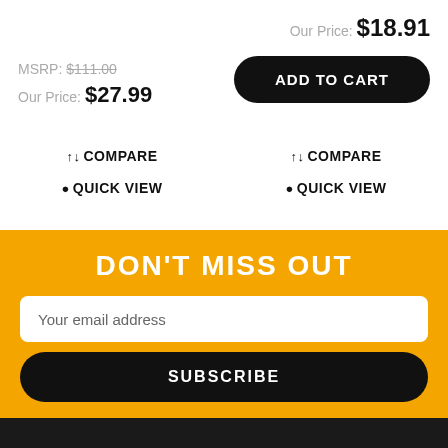MSRP: $111.00
Our Price: $27.99
Our Price: $18.91
ADD TO CART
↑↓ COMPARE
↑↓ COMPARE
🔍 QUICK VIEW
🔍 QUICK VIEW
DON'T MISS OUT
Your email address
SUBSCRIBE